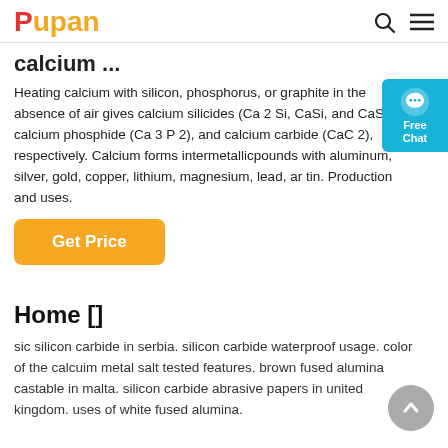Pupan
calcium ...
Heating calcium with silicon, phosphorus, or graphite in the absence of air gives calcium silicides (Ca 2 Si, CaSi, and CaS calcium phosphide (Ca 3 P 2), and calcium carbide (CaC 2), respectively. Calcium forms intermetallicpounds with aluminum, silver, gold, copper, lithium, magnesium, lead, ar tin. Production and uses.
[Figure (other): Free Chat bubble widget in cyan/teal color on right side]
Get Price
Home []
sic silicon carbide in serbia. silicon carbide waterproof usage. color of the calcuim metal salt tested features. brown fused alumina castable in malta. silicon carbide abrasive papers in united kingdom. uses of white fused alumina.